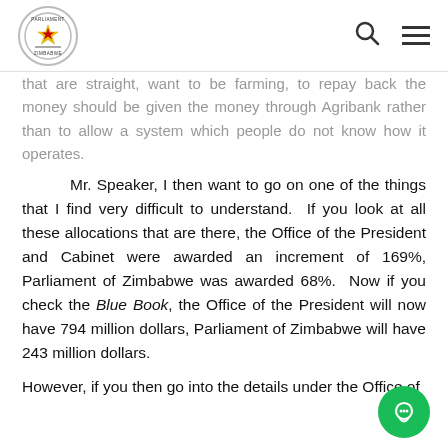Parliament of Zimbabwe official website header with logo, search icon, and menu icon
that are straight, want to be farming, to repay back the money should be given the money through Agribank rather than to allow a system which people do not know how it operates.
Mr. Speaker, I then want to go on one of the things that I find very difficult to understand.  If you look at all these allocations that are there, the Office of the President and Cabinet were awarded an increment of 169%, Parliament of Zimbabwe was awarded 68%.  Now if you check the Blue Book, the Office of the President will now have 794 million dollars, Parliament of Zimbabwe will have 243 million dollars.
However, if you then go into the details under the Office of